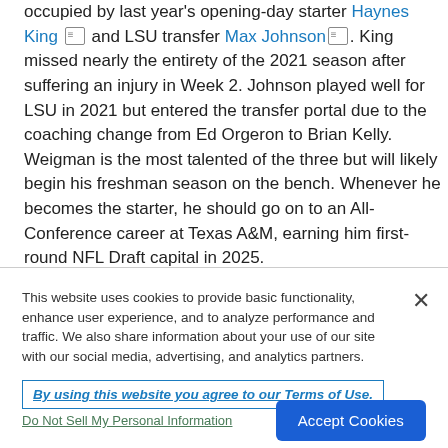occupied by last year's opening-day starter Haynes King and LSU transfer Max Johnson. King missed nearly the entirety of the 2021 season after suffering an injury in Week 2. Johnson played well for LSU in 2021 but entered the transfer portal due to the coaching change from Ed Orgeron to Brian Kelly. Weigman is the most talented of the three but will likely begin his freshman season on the bench. Whenever he becomes the starter, he should go on to an All-Conference career at Texas A&M, earning him first-round NFL Draft capital in 2025.
This website uses cookies to provide basic functionality, enhance user experience, and to analyze performance and traffic. We also share information about your use of our site with our social media, advertising, and analytics partners.
By using this website you agree to our Terms of Use.
Do Not Sell My Personal Information
Accept Cookies